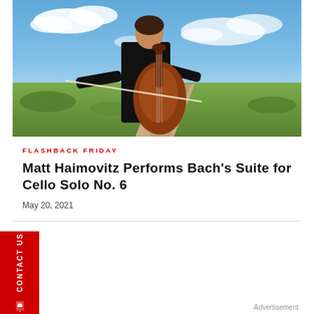[Figure (photo): A cellist wearing black plays cello outdoors on a wooden boardwalk path through a grassy field under a bright blue sky with white clouds.]
FLASHBACK FRIDAY
Matt Haimovitz Performs Bach's Suite for Cello Solo No. 6
May 20, 2021
CONTACT US
Advertisement